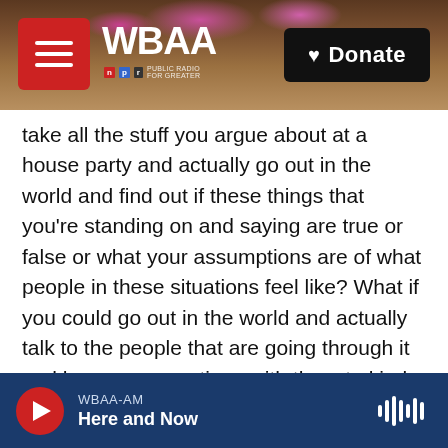[Figure (screenshot): WBAA NPR radio website header with logo on left, hamburger menu icon in red box, and black Donate button with heart icon on right. Background shows blurred tree branches with pink blossoms.]
take all the stuff you argue about at a house party and actually go out in the world and find out if these things that you're standing on and saying are true or false or what your assumptions are of what people in these situations feel like? What if you could go out in the world and actually talk to the people that are going through it and have conversations with them to kind of see if you were wrong or right?
GROSS: Do you find it easy to disagree with friends without your friend or you taking the disagreement personally?
WBAA-AM
Here and Now